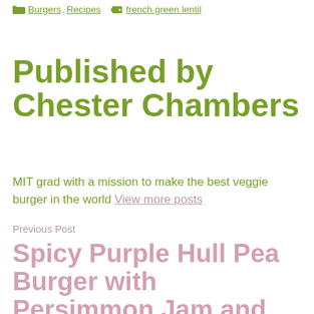Burgers, Recipes  french green lentil
Published by Chester Chambers
MIT grad with a mission to make the best veggie burger in the world View more posts
Previous Post
Spicy Purple Hull Pea Burger with Persimmon Jam and Spicy Pickled Okra